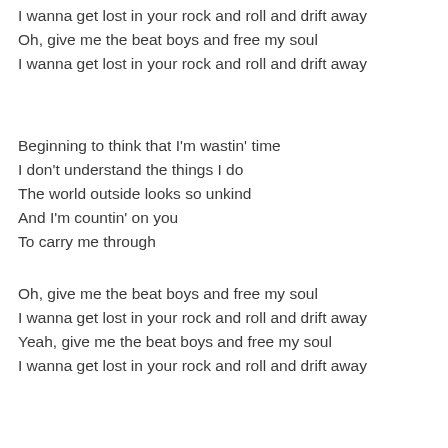I wanna get lost in your rock and roll and drift away
Oh, give me the beat boys and free my soul
I wanna get lost in your rock and roll and drift away
Beginning to think that I'm wastin' time
I don't understand the things I do
The world outside looks so unkind
And I'm countin' on you
To carry me through
Oh, give me the beat boys and free my soul
I wanna get lost in your rock and roll and drift away
Yeah, give me the beat boys and free my soul
I wanna get lost in your rock and roll and drift away